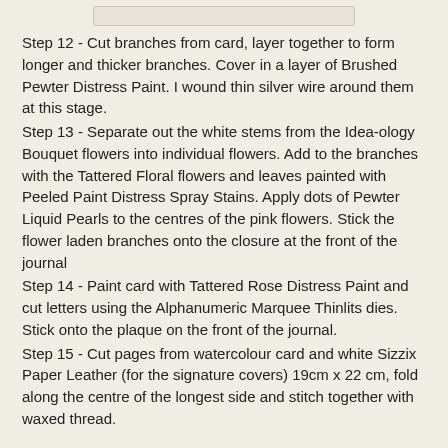Step 12 - Cut branches from card, layer together to form longer and thicker branches. Cover in a layer of Brushed Pewter Distress Paint. I wound thin silver wire around them at this stage.
Step 13 - Separate out the white stems from the Idea-ology Bouquet flowers into individual flowers. Add to the branches with the Tattered Floral flowers and leaves painted with Peeled Paint Distress Spray Stains. Apply dots of Pewter Liquid Pearls to the centres of the pink flowers. Stick the flower laden branches onto the closure at the front of the journal
Step 14 - Paint card with Tattered Rose Distress Paint and cut letters using the Alphanumeric Marquee Thinlits dies. Stick onto the plaque on the front of the journal.
Step 15 - Cut pages from watercolour card and white Sizzix Paper Leather (for the signature covers) 19cm x 22 cm, fold along the centre of the longest side and stitch together with waxed thread.
To finish I ran 2mm white elastic cord through the journal